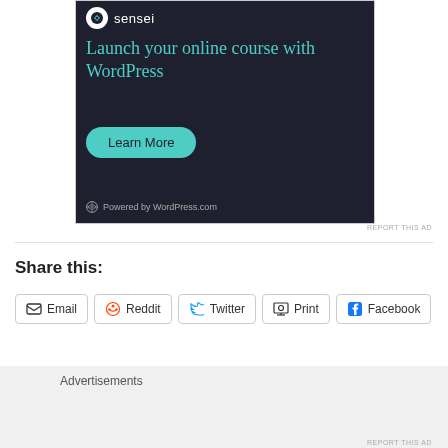[Figure (screenshot): Advertisement banner for Sensei: 'Launch your online course with WordPress' with a Learn More button and 'Powered by WordPress.com' footer, dark navy background with teal text]
REPORT THIS AD
Share this:
Email
Reddit
Twitter
Print
Facebook
Advertisements
REPORT THIS AD